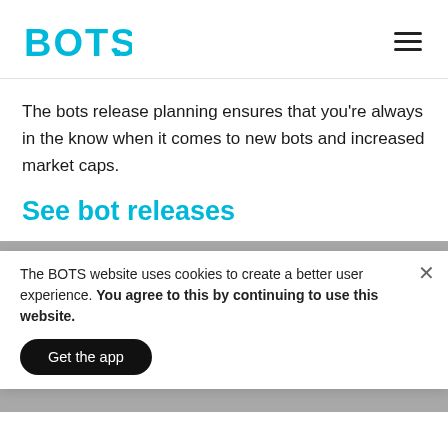BOTS. [logo] [hamburger menu]
The bots release planning ensures that you’re always in the know when it comes to new bots and increased market caps.
See bot releases
BOTS GOLD blog
He talks about Bitcoin finally becoming an ETF and what that means for its value. Also, have you heard of …re? …ion, not an alternative strategy, well he’s making some pretty amazing predictions.
The BOTS website uses cookies to create a better user experience. You agree to this by continuing to use this website.
Get the app